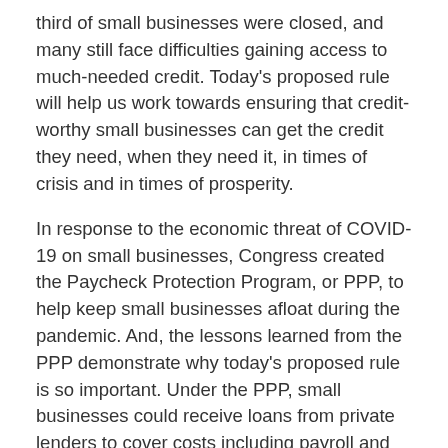third of small businesses were closed, and many still face difficulties gaining access to much-needed credit. Today's proposed rule will help us work towards ensuring that credit-worthy small businesses can get the credit they need, when they need it, in times of crisis and in times of prosperity.
In response to the economic threat of COVID-19 on small businesses, Congress created the Paycheck Protection Program, or PPP, to help keep small businesses afloat during the pandemic. And, the lessons learned from the PPP demonstrate why today's proposed rule is so important. Under the PPP, small businesses could receive loans from private lenders to cover costs including payroll and rent. The loans were fully guaranteed by the Small Business Administration and forgivable if the businesses met certain requirements. Ultimately, almost $800 billion in funding was provided for the program. But the program was plagued with problems–the smallest businesses had trouble accessing the funds, and, at least initially, reports were widespread that Black and Hispanic